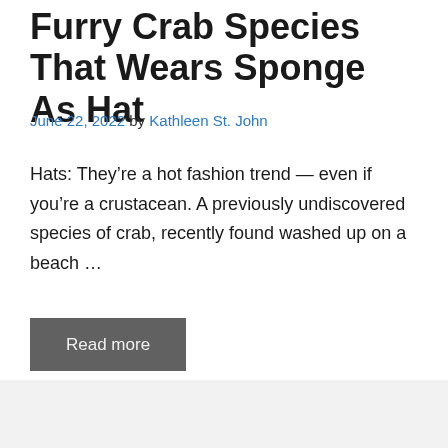Furry Crab Species That Wears Sponge As Hat
June 22, 2022 by Kathleen St. John
Hats: They’re a hot fashion trend — even if you’re a crustacean. A previously undiscovered species of crab, recently found washed up on a beach …
Read more